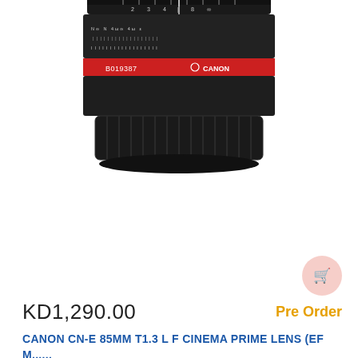[Figure (photo): Close-up bottom view of a Canon CN-E 85mm T1.3 L F Cinema Prime Lens showing the black lens barrel with a red ring and Canon branding, serial number B019387 visible]
KD1,290.00
Pre Order
CANON CN-E 85MM T1.3 L F CINEMA PRIME LENS (EF M......
SKU:  333001951